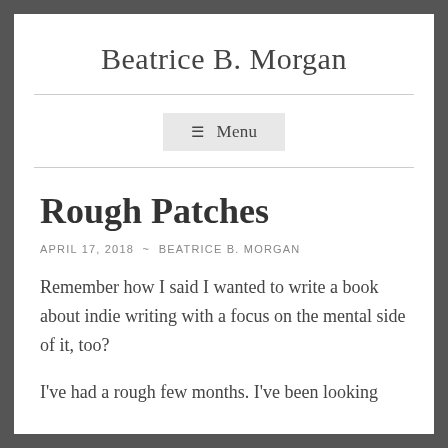Beatrice B. Morgan
Menu
Rough Patches
APRIL 17, 2018 ~ BEATRICE B. MORGAN
Remember how I said I wanted to write a book about indie writing with a focus on the mental side of it, too?
I've had a rough few months. I've been looking